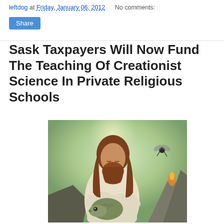leftdog at Friday, January 06, 2012   No comments:
Share
Sask Taxpayers Will Now Fund The Teaching Of Creationist Science In Private Religious Schools
[Figure (photo): Painting of a Jesus-like figure with long brown hair and beard, wearing white robes, holding a dinosaur (raptor), with a glowing background and a flying insect visible in the upper right.]